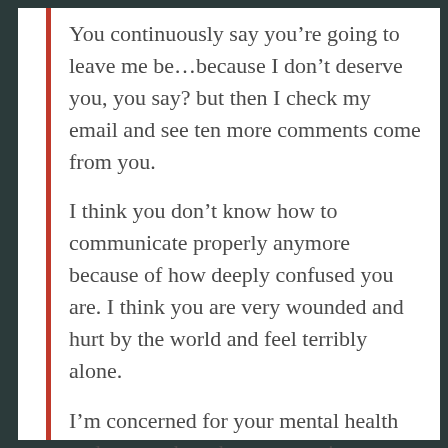You continuously say you’re going to leave me be…because I don’t deserve you, you say? but then I check my email and see ten more comments come from you.
I think you don’t know how to communicate properly anymore because of how deeply confused you are. I think you are very wounded and hurt by the world and feel terribly alone.
I’m concerned for your mental health and worry about how aggressive so